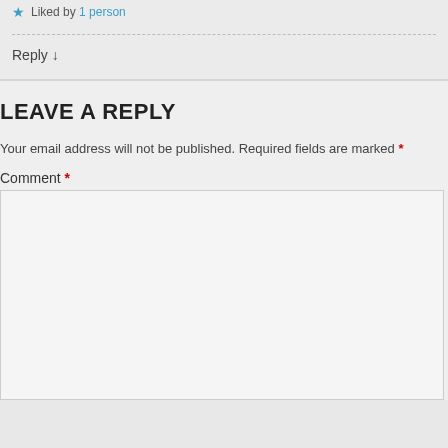★ Liked by 1 person
Reply ↓
LEAVE A REPLY
Your email address will not be published. Required fields are marked *
Comment *